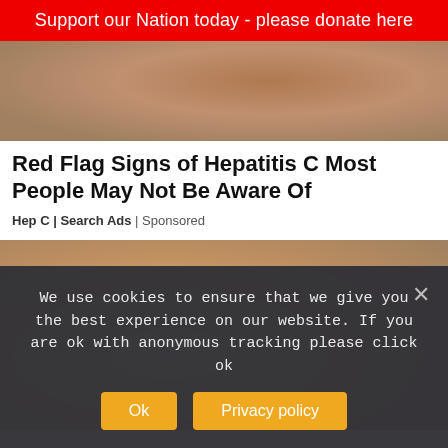Support our Nation today - please donate here
[Figure (photo): Close-up photo of human skin, dark toned, partial view]
Red Flag Signs of Hepatitis C Most People May Not Be Aware Of
Hep C | Search Ads | Sponsored
[Figure (photo): Photo of a blonde woman looking distressed, holding a phone]
We use cookies to ensure that we give you the best experience on our website. If you are ok with anonymous tracking please click ok
Ok   Privacy policy